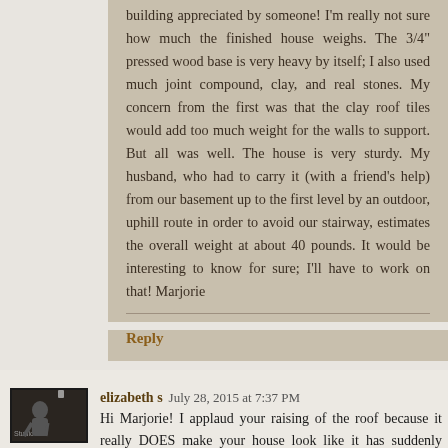building appreciated by someone! I'm really not sure how much the finished house weighs. The 3/4" pressed wood base is very heavy by itself; I also used much joint compound, clay, and real stones. My concern from the first was that the clay roof tiles would add too much weight for the walls to support. But all was well. The house is very sturdy. My husband, who had to carry it (with a friend's help) from our basement up to the first level by an outdoor, uphill route in order to avoid our stairway, estimates the overall weight at about 40 pounds. It would be interesting to know for sure; I'll have to work on that! Marjorie
Reply
elizabeth s  July 28, 2015 at 7:37 PM
Hi Marjorie! I applaud your raising of the roof because it really DOES make your house look like it has suddenly become a home! I LOVE IT!
I have had the same warping happen to me too, but I am So